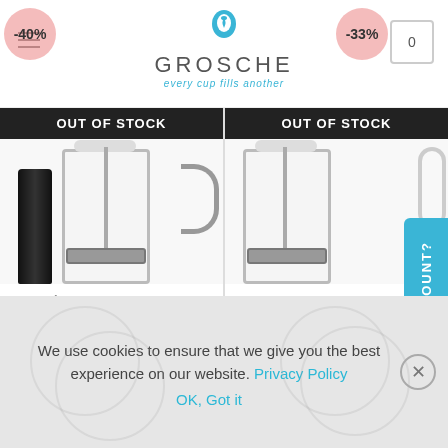GROSCHE — every cup fills another
[Figure (screenshot): Product card: CAFÉ AU LAIT French Press Starter Set | OPEN BOX – Red. Out of Stock. Original price $29.99 USD, Sale price $17.99 USD. SELECT OPTIONS link.]
[Figure (screenshot): Product card: MADRID Premium French Press | OPEN BOX – 350ml. Out of Stock. Original price $29.99 USD, Sale price $19.99 USD. SELECT OPTIONS link.]
WANT A DISCOUNT?
We use cookies to ensure that we give you the best experience on our website. Privacy Policy OK, Got it